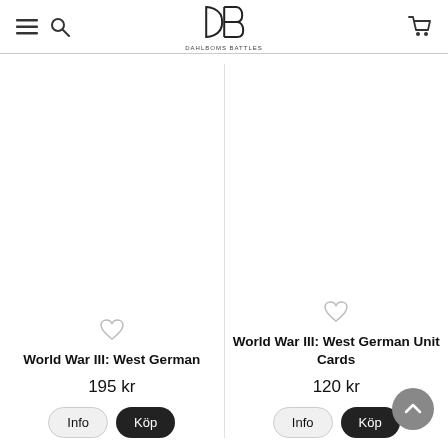Dahlboms Battles — navigation header with hamburger menu, search icon, logo, and cart icon
[Figure (screenshot): Product image placeholder for World War III: West German (blank/white area)]
World War III: West German
195 kr
[Figure (screenshot): Product image placeholder for World War III: West German Unit Cards (blank/white area)]
World War III: West German Unit Cards
120 kr